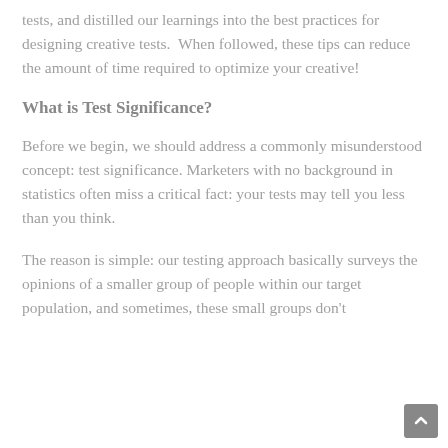tests, and distilled our learnings into the best practices for designing creative tests.  When followed, these tips can reduce the amount of time required to optimize your creative!
What is Test Significance?
Before we begin, we should address a commonly misunderstood concept: test significance. Marketers with no background in statistics often miss a critical fact: your tests may tell you less than you think.
The reason is simple: our testing approach basically surveys the opinions of a smaller group of people within our target population, and sometimes, these small groups don't